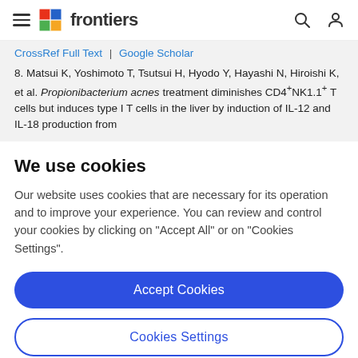frontiers
CrossRef Full Text | Google Scholar
8. Matsui K, Yoshimoto T, Tsutsui H, Hyodo Y, Hayashi N, Hiroishi K, et al. Propionibacterium acnes treatment diminishes CD4+NK1.1+ T cells but induces type I T cells in the liver by induction of IL-12 and IL-18 production from
We use cookies
Our website uses cookies that are necessary for its operation and to improve your experience. You can review and control your cookies by clicking on "Accept All" or on "Cookies Settings".
Accept Cookies
Cookies Settings